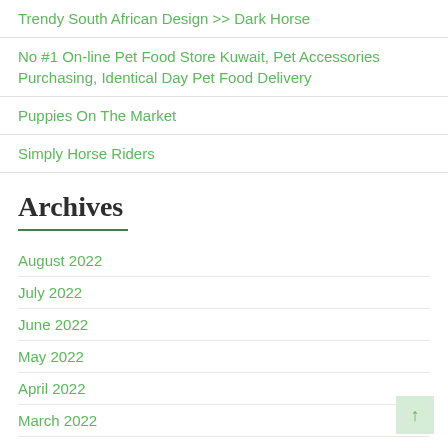Trendy South African Design >> Dark Horse
No #1 On-line Pet Food Store Kuwait, Pet Accessories Purchasing, Identical Day Pet Food Delivery
Puppies On The Market
Simply Horse Riders
Archives
August 2022
July 2022
June 2022
May 2022
April 2022
March 2022